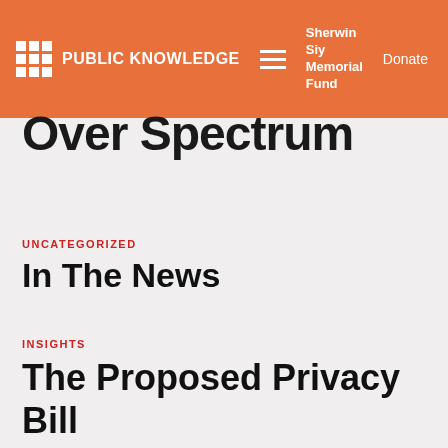PUBLIC KNOWLEDGE | Sherwin Siy Memorial Fund | Donate
Over Spectrum
UNCATEGORIZED
In The News
INSIGHTS
The Proposed Privacy Bill Would Treat Your Phone Data Like Your Amazon